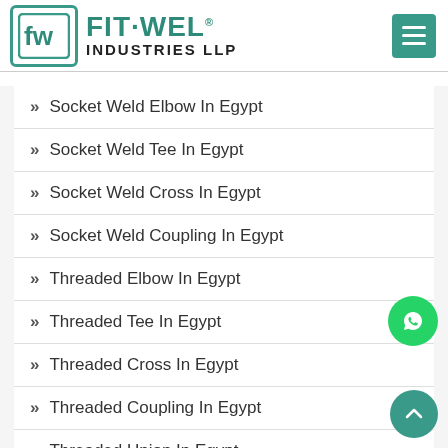[Figure (logo): Fit-Wel Industries LLP logo with teal square border and stylized FW monogram]
» Socket Weld Elbow In Egypt
» Socket Weld Tee In Egypt
» Socket Weld Cross In Egypt
» Socket Weld Coupling In Egypt
» Threaded Elbow In Egypt
» Threaded Tee In Egypt
» Threaded Cross In Egypt
» Threaded Coupling In Egypt
» Threaded Union In Egypt